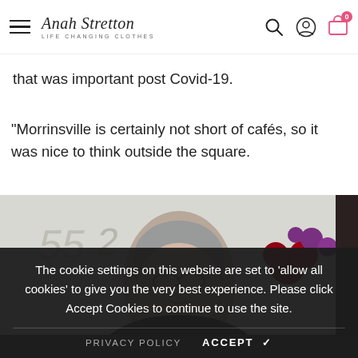Anah Stretton — LIFE CHANGING CLOTHES
that was important post Covid-19.
"Morrinsville is certainly not short of cafés, so it was nice to think outside the square.
[Figure (photo): Woman with grey hair and glasses smiling, with flowers (red and purple) visible in the background, and handwritten text on a window behind her.]
The cookie settings on this website are set to 'allow all cookies' to give you the very best experience. Please click Accept Cookies to continue to use the site.
PRIVACY POLICY    ACCEPT ✔